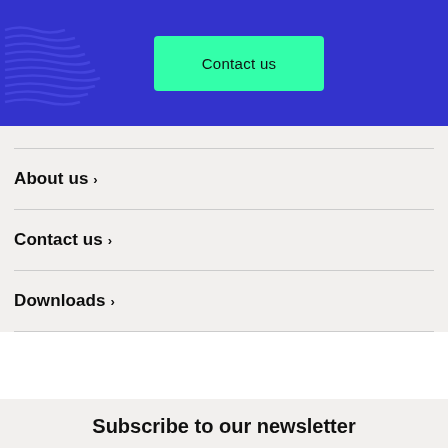[Figure (logo): Blue hero banner with decorative wavy lines logo on the left and a green Contact us button in the center]
Contact us
About us ›
Contact us ›
Downloads ›
Subscribe to our newsletter